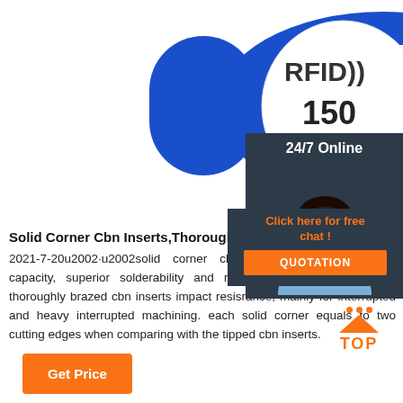[Figure (photo): Blue RFID silicone wristband with white oval face showing 'RFID))' and '150' text, photographed on white background]
[Figure (photo): 24/7 Online chat widget showing a smiling woman with headset on dark background with orange 'Click here for free chat!' text and orange QUOTATION button]
Solid Corner Cbn Inserts,Thoroughly Brazed Pcbn I
2021-7-20u2002·u2002solid corner cbn inserts have absorption capacity, superior solderability and resist heat, but solid corner thoroughly brazed cbn inserts impact resisrance, mainly for interrupted and heavy interrupted machining. each solid corner equals to two cutting edges when comparing with the tipped cbn inserts.
[Figure (infographic): Orange TOP button with dots and triangle arrow pointing up]
Get Price